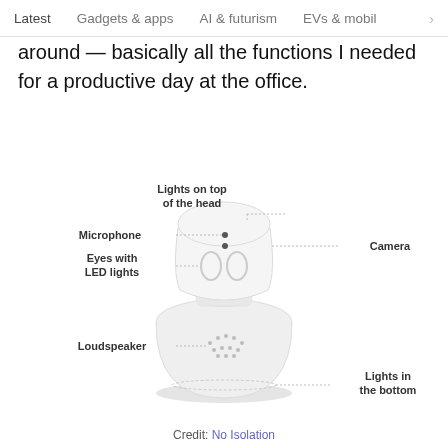Latest   Gadgets & apps   AI & futurism   EVs & mobil  >
around — basically all the functions I needed for a productive day at the office.
[Figure (illustration): Diagram of a small white robot with labeled parts: Lights on top of the head, Microphone, Camera, Eyes with LED lights, Loudspeaker, Lights in the bottom]
Credit: No Isolation